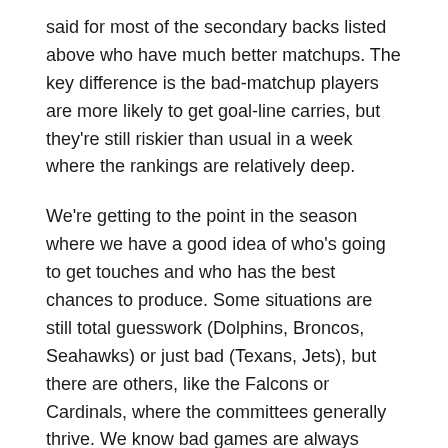said for most of the secondary backs listed above who have much better matchups. The key difference is the bad-matchup players are more likely to get goal-line carries, but they're still riskier than usual in a week where the rankings are relatively deep.
We're getting to the point in the season where we have a good idea of who's going to get touches and who has the best chances to produce. Some situations are still total guesswork (Dolphins, Broncos, Seahawks) or just bad (Texans, Jets), but there are others, like the Falcons or Cardinals, where the committees generally thrive. We know bad games are always possible (as we saw with a gimpy Mike Davis last week), but we also know certain players have established themselves as “must-starts.” Unless you have significantly better or more reliable options, you have to trust certain guys until they give you a reason not to.